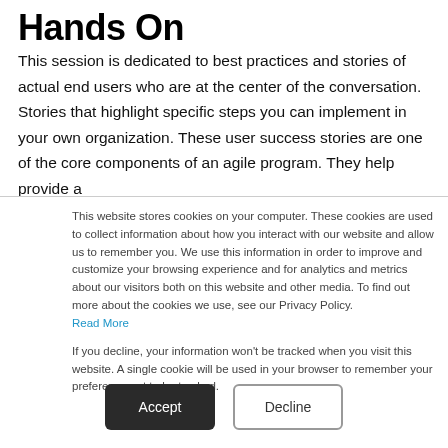Hands On
This session is dedicated to best practices and stories of actual end users who are at the center of the conversation. Stories that highlight specific steps you can implement in your own organization. These user success stories are one of the core components of an agile program. They help provide a
This website stores cookies on your computer. These cookies are used to collect information about how you interact with our website and allow us to remember you. We use this information in order to improve and customize your browsing experience and for analytics and metrics about our visitors both on this website and other media. To find out more about the cookies we use, see our Privacy Policy. Read More
If you decline, your information won't be tracked when you visit this website. A single cookie will be used in your browser to remember your preference not to be tracked.